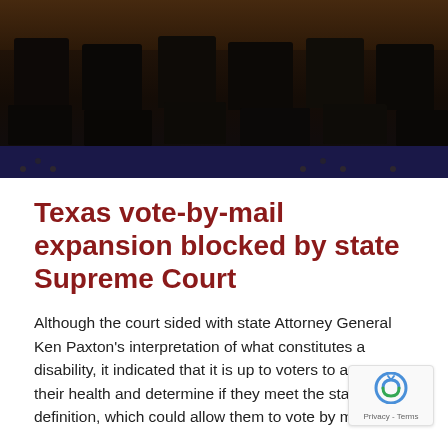[Figure (photo): Dark courtroom interior with empty black chairs and blue carpet, dim lighting, wooden panels visible in background]
Texas vote-by-mail expansion blocked by state Supreme Court
Although the court sided with state Attorney General Ken Paxton's interpretation of what constitutes a disability, it indicated that it is up to voters to assess their health and determine if they meet the state's definition, which could allow them to vote by mail.
By ACRU Staff | May 29th, 2020